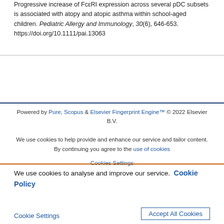Progressive increase of FcεRI expression across several pDC subsets is associated with atopy and atopic asthma within school-aged children. Pediatric Allergy and Immunology, 30(6), 646-653. https://doi.org/10.1111/pai.13063
Powered by Pure, Scopus & Elsevier Fingerprint Engine™ © 2022 Elsevier B.V.
We use cookies to help provide and enhance our service and tailor content. By continuing you agree to the use of cookies
Cookies Settings
We use cookies to analyse and improve our service. Cookie Policy
Cookies Settings   Accept All Cookies